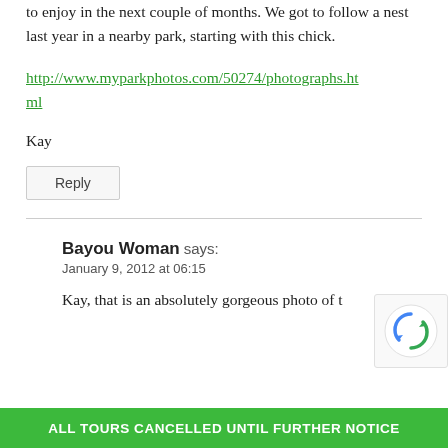to enjoy in the next couple of months. We got to follow a nest last year in a nearby park, starting with this chick.
http://www.myparkphotos.com/50274/photographs.html
Kay
Reply
Bayou Woman says:
January 9, 2012 at 06:15
Kay, that is an absolutely gorgeous photo of t
ALL TOURS CANCELLED UNTIL FURTHER NOTICE